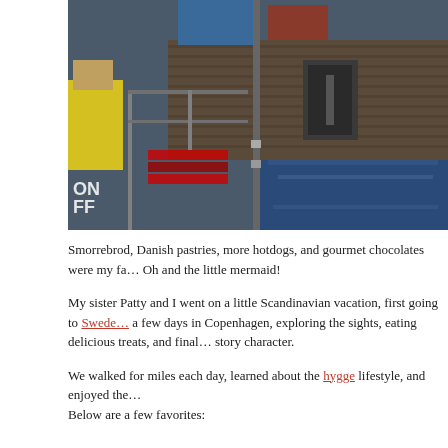[Figure (photo): A harbor/dock scene showing wooden pier pilings, blue water reflecting sunlight, a yellow safety vest on a worker at left, and shipping containers in the background. Metal railings and a tall pole/post are visible in the foreground.]
Smorrebrod, Danish pastries, more hotdogs, and gourmet chocolates were my fa... Oh and the little mermaid!
My sister Patty and I went on a little Scandinavian vacation, first going to Swede... a few days in Copenhagen, exploring the sights, eating delicious treats, and final... story character.
We walked for miles each day, learned about the hygge lifestyle, and enjoyed the... Below are a few favorites: